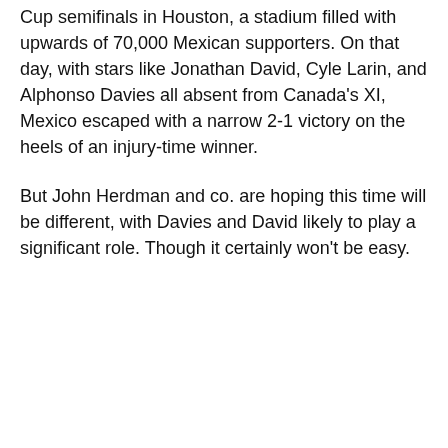Cup semifinals in Houston, a stadium filled with upwards of 70,000 Mexican supporters. On that day, with stars like Jonathan David, Cyle Larin, and Alphonso Davies all absent from Canada's XI, Mexico escaped with a narrow 2-1 victory on the heels of an injury-time winner.
But John Herdman and co. are hoping this time will be different, with Davies and David likely to play a significant role. Though it certainly won't be easy.